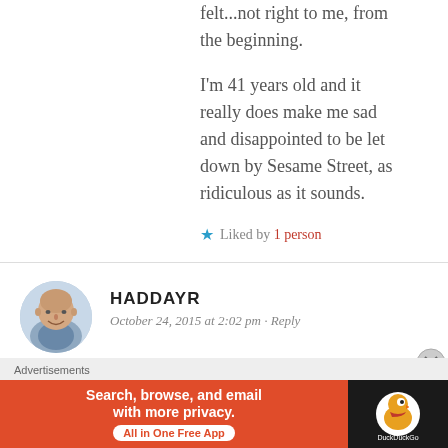felt...not right to me, from the beginning.
I'm 41 years old and it really does make me sad and disappointed to be let down by Sesame Street, as ridiculous as it sounds.
★ Liked by 1 person
[Figure (photo): Avatar photo of a bald man smiling, wearing a blue shirt]
HADDAYR
October 24, 2015 at 2:02 pm · Reply
Thank you SO MUCH for watching all this crap so that we don't have to. This in
Advertisements
[Figure (screenshot): DuckDuckGo advertisement banner: Search, browse, and email with more privacy. All in One Free App.]